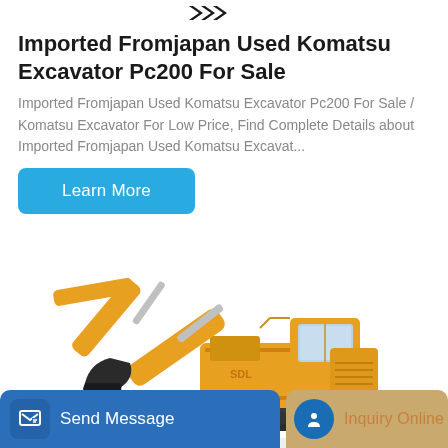logo / brand mark at top center
Imported Fromjapan Used Komatsu Excavator Pc200 For Sale
Imported Fromjapan Used Komatsu Excavator Pc200 For Sale / Komatsu Excavator For Low Price, Find Complete Details about Imported Fromjapan Used Komatsu Excavat...
Learn More
[Figure (photo): Yellow large hydraulic excavator (Komatsu-style) with extended boom arm, photographed on white background, partial view showing boom, cab, and tracks]
Send Message
Inquiry Online